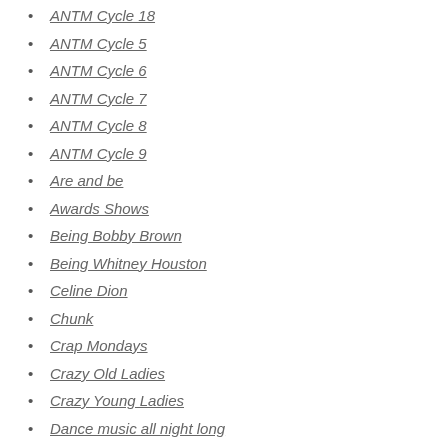ANTM Cycle 18
ANTM Cycle 5
ANTM Cycle 6
ANTM Cycle 7
ANTM Cycle 8
ANTM Cycle 9
Are and be
Awards Shows
Being Bobby Brown
Being Whitney Houston
Celine Dion
Chunk
Crap Mondays
Crazy Old Ladies
Crazy Young Ladies
Dance music all night long
Documentaries
Dumbness